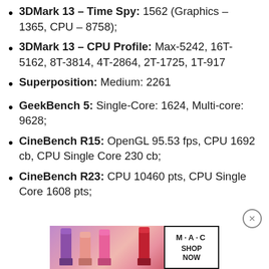3DMark 13 – Time Spy: 1562 (Graphics – 1365, CPU – 8758);
3DMark 13 – CPU Profile: Max-5242, 16T-5162, 8T-3814, 4T-2864, 2T-1725, 1T-917
Superposition: Medium: 2261
GeekBench 5: Single-Core: 1624, Multi-core: 9628;
CineBench R15: OpenGL 95.53 fps, CPU 1692 cb, CPU Single Core 230 cb;
CineBench R23: CPU 10460 pts, CPU Single Core 1608 pts;
[Figure (photo): MAC cosmetics advertisement banner showing lipsticks and 'SHOP NOW' button]